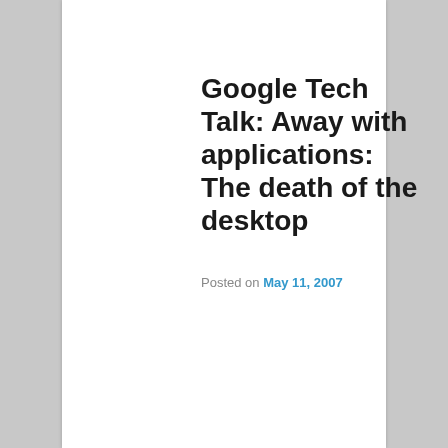CATEGORY ARCHIVES: DESKTOP
Google Tech Talk: Away with applications: The death of the desktop
Posted on May 11, 2007